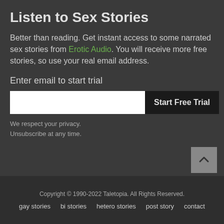Listen to Sex Stories
Better than reading. Get instant access to some narrated sex stories from Erotic Audio. You will receive more free stories, so use your real email address.
Enter email to start trial
We respect your privacy.
Unsubscribe at any time.
Copyright © 1990-2022 Taletopia. All Rights Reserved.
gay stories   bi stories   hetero stories   post story   contact